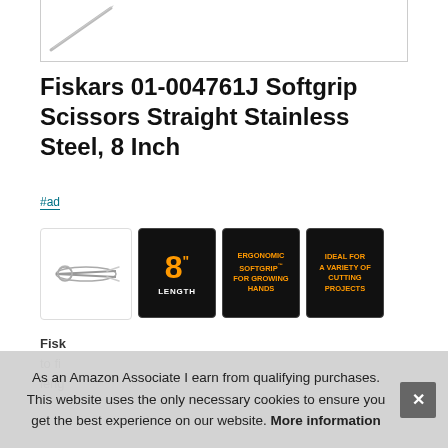[Figure (photo): Partial view of scissors (handles visible) inside a white bordered box at top of page]
Fiskars 01-004761J Softgrip Scissors Straight Stainless Steel, 8 Inch
#ad
[Figure (photo): Row of product thumbnail images: main scissors photo, black card with orange 8" LENGTH, black card with orange ERGONOMIC SOFTGRIP FOR GROWING HANDS, black card with orange IDEAL FOR A VARIETY OF CUTTING PROJECTS]
Fisk... to fi... leng...
As an Amazon Associate I earn from qualifying purchases. This website uses the only necessary cookies to ensure you get the best experience on our website. More information